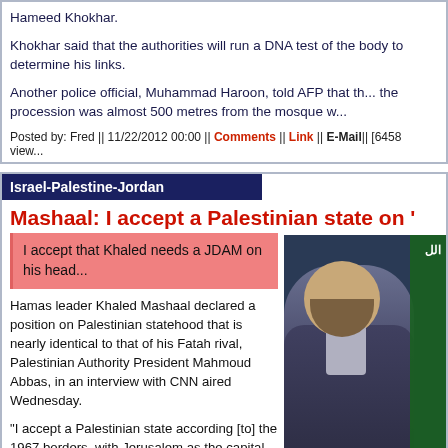Hameed Khokhar.
Khokhar said that the authorities will run a DNA test of the body to determine his links.
Another police official, Muhammad Haroon, told AFP that the procession was almost 500 metres from the mosque w...
Posted by: Fred || 11/22/2012 00:00 || Comments || Link || E-Mail|| [6458 view...
Israel-Palestine-Jordan
Mashaal: I accept a Palestinian state on '...
I accept that Khaled needs a JDAM on his head...
Hamas leader Khaled Mashaal declared a position on Palestinian statehood that is nearly identical to that of his Fatah rival, Palestinian Authority President Mahmoud Abbas, in an interview with CNN aired Wednesday.
"I accept a Palestinian state according [to] the 1967 borders, with Jerusalem as the capital, with the right to return... [the balance is cut off]
[Figure (photo): Photo of Hamas leader Khaled Mashaal speaking, with green Hamas banner visible in background]